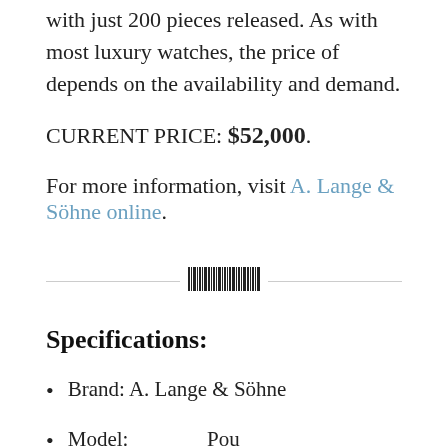with just 200 pieces released. As with most luxury watches, the price of depends on the availability and demand.
CURRENT PRICE: $52,000.
For more information, visit A. Lange & Söhne online.
[Figure (other): Barcode / divider element]
Specifications:
Brand: A. Lange & Söhne
(partial, cut off at bottom)